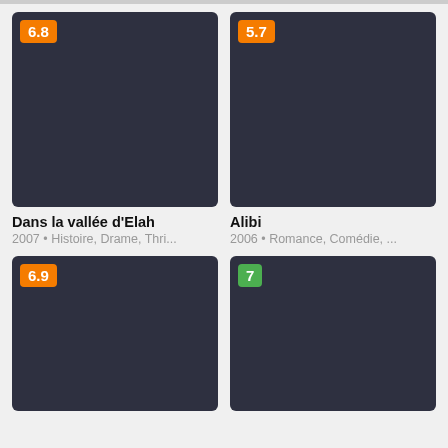[Figure (screenshot): Movie card for Dans la vallée d'Elah with orange badge rating 6.8, dark poster placeholder]
Dans la vallée d'Elah
2007 • Histoire, Drame, Thri...
[Figure (screenshot): Movie card for Alibi with orange badge rating 5.7, dark poster placeholder]
Alibi
2006 • Romance, Comédie, ...
[Figure (screenshot): Movie card with orange badge rating 6.9, dark poster placeholder, partially visible]
[Figure (screenshot): Movie card with green badge rating 7, dark poster placeholder, partially visible]